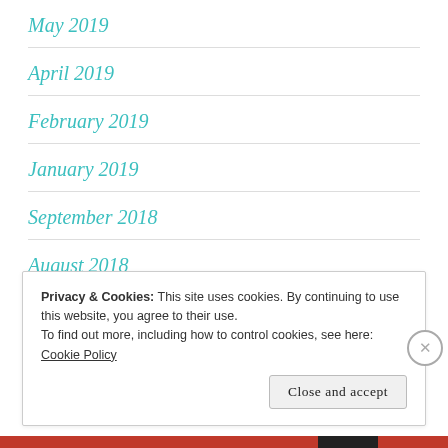May 2019
April 2019
February 2019
January 2019
September 2018
August 2018
Privacy & Cookies: This site uses cookies. By continuing to use this website, you agree to their use.
To find out more, including how to control cookies, see here: Cookie Policy
Close and accept